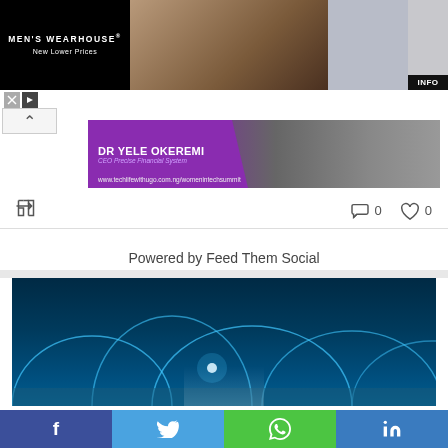[Figure (photo): Men's Wearhouse advertisement banner featuring a couple in formal wear and a man in a suit with INFO button]
[Figure (photo): Dr Yele Okeremi CEO Precise Financial System banner for www.techlifewithugo.com.ng/womenintechsummit]
0   0
Powered by Feed Them Social
[Figure (photo): Technology network connectivity image with glowing arcs on dark blue background]
f   Twitter   WhatsApp   in